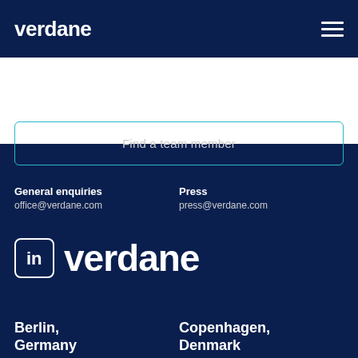verdane
Find a team member
General enquiries
office@verdane.com
Press
press@verdane.com
[Figure (logo): LinkedIn icon and verdane logo in white on dark navy background]
Berlin, Germany
Copenhagen, Denmark